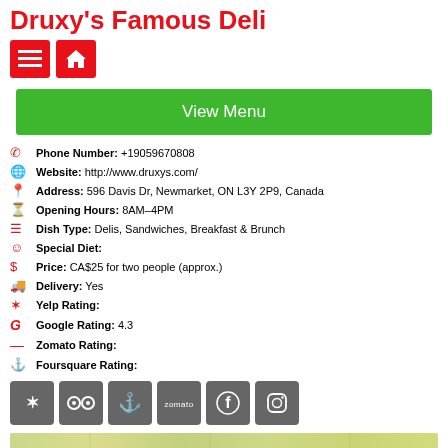Druxy's Famous Deli
[Figure (infographic): Red hamburger menu icon and red home icon buttons]
View Menu
Phone Number: +19059670808
Website: http://www.druxys.com/
Address: 596 Davis Dr, Newmarket, ON L3Y 2P9, Canada
Opening Hours: 8AM–4PM
Dish Type: Delis, Sandwiches, Breakfast & Brunch
Special Diet:
Price: CA$25 for two people (approx.)
Delivery: Yes
Yelp Rating:
Google Rating: 4.3
Zomato Rating:
Foursquare Rating:
[Figure (infographic): Social media icon buttons for Yelp, TripAdvisor, Foursquare, Zomato, Facebook, Instagram]
[Figure (map): Map strip at bottom of page]